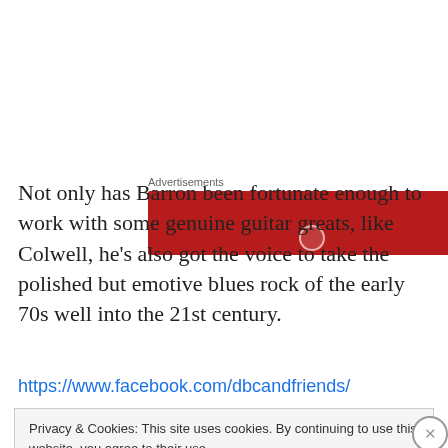[Figure (other): Red advertisement banner with a small circular loading/play icon at the bottom center, labeled 'Advertisements' above it]
Not only has Barron been fortunate enough to work with some genuine guitar greats, like Colwell, he's also got the voice to take the polished but emotive blues rock of the early 70s well into the 21st century.
https://www.facebook.com/dbcandfriends/
Privacy & Cookies: This site uses cookies. By continuing to use this website, you agree to their use.
To find out more, including how to control cookies, see here: Cookie Policy